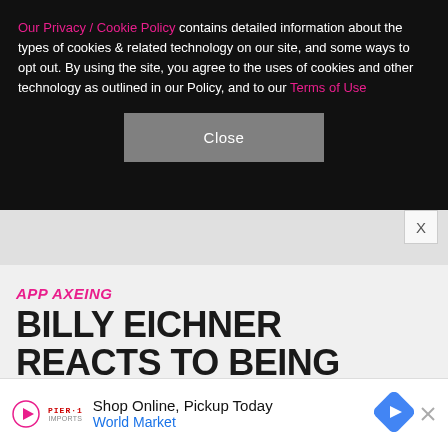Our Privacy / Cookie Policy contains detailed information about the types of cookies & related technology on our site, and some ways to opt out. By using the site, you agree to the uses of cookies and other technology as outlined in our Policy, and to our Terms of Use
Close
APP AXEING
BILLY EICHNER REACTS TO BEING BOOTED OFF TINDER FOR SECOND TIME
Shop Online, Pickup Today World Market